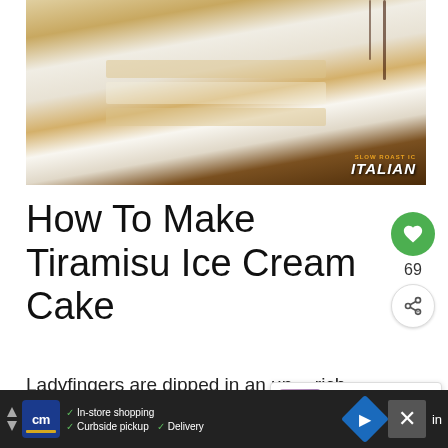[Figure (photo): A sliced tiramisu ice cream cake showing layered interior with cream filling, topped with white frosting and chocolate drizzle, with nuts scattered around. Logo reads 'SLOW ROAST IC ITALIAN' in bottom right corner.]
How To Make Tiramisu Ice Cream Cake
Ladyfingers are dipped in an un... rich, aromatic, and delicious espresso.
[Figure (infographic): WHAT'S NEXT popup showing No-Churn Blueberry Ic... with thumbnail of blueberry dessert]
[Figure (infographic): Advertisement banner: CM logo, In-store shopping, Curbside pickup, Delivery, navigation icon, close button, text 'in']